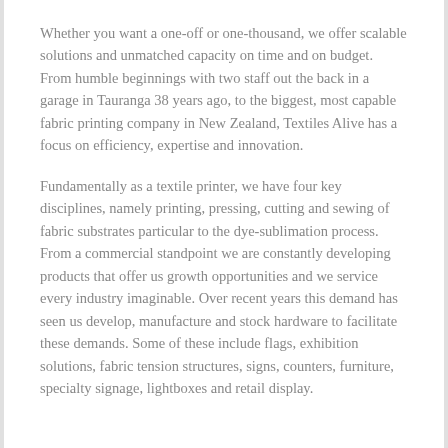Whether you want a one-off or one-thousand, we offer scalable solutions and unmatched capacity on time and on budget. From humble beginnings with two staff out the back in a garage in Tauranga 38 years ago, to the biggest, most capable fabric printing company in New Zealand, Textiles Alive has a focus on efficiency, expertise and innovation.
Fundamentally as a textile printer, we have four key disciplines, namely printing, pressing, cutting and sewing of fabric substrates particular to the dye-sublimation process. From a commercial standpoint we are constantly developing products that offer us growth opportunities and we service every industry imaginable. Over recent years this demand has seen us develop, manufacture and stock hardware to facilitate these demands. Some of these include flags, exhibition solutions, fabric tension structures, signs, counters, furniture, specialty signage, lightboxes and retail display.